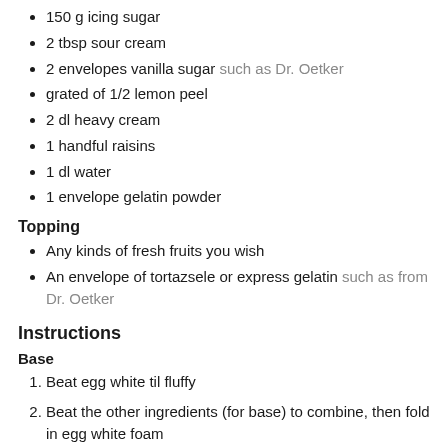150 g icing sugar
2 tbsp sour cream
2 envelopes vanilla sugar such as Dr. Oetker
grated of 1/2 lemon peel
2 dl heavy cream
1 handful raisins
1 dl water
1 envelope gelatin powder
Topping
Any kinds of fresh fruits you wish
An envelope of tortazsele or express gelatin such as from Dr. Oetker
Instructions
Base
Beat egg white til fluffy
Beat the other ingredients (for base) to combine, then fold in egg white foam
Bake on 350 F for 15–20 minutes, cool to room temperature before proceeding